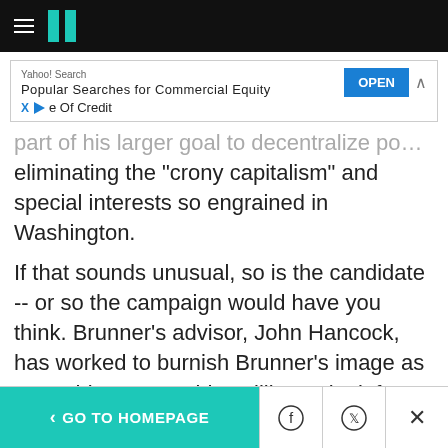HuffPost navigation bar with hamburger menu and logo
[Figure (screenshot): Yahoo! Search ad banner: Popular Searches for Commercial Equity Line Of Credit, with OPEN button]
part of his larger goal to decentralize power, eliminating the "crony capitalism" and special interests so engrained in Washington.
If that sounds unusual, so is the candidate -- or so the campaign would have you think. Brunner's advisor, John Hancock, has worked to burnish Brunner's image as a Washington outsider willing to look for atypical solutions.
"He believes that he has a skill set as a
< GO TO HOMEPAGE  [Facebook] [Twitter] [X]